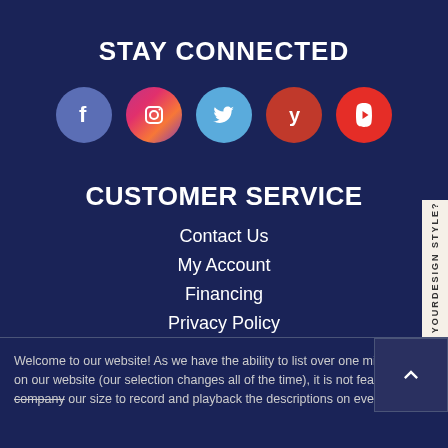STAY CONNECTED
[Figure (illustration): Five social media icon circles: Facebook (blue), Instagram (gradient pink/purple), Twitter (light blue), Yelp (dark red), YouTube (red)]
CUSTOMER SERVICE
Contact Us
My Account
Financing
Privacy Policy
Terms of Service
Accessibility
Site Map
[Figure (other): Vertical sidebar tab reading 'WHAT IS YOUR DESIGN STYLE?']
Welcome to our website! As we have the ability to list over one million items on our website (our selection changes all of the time), it is not feasible for a company our size to record and playback the descriptions on every item on